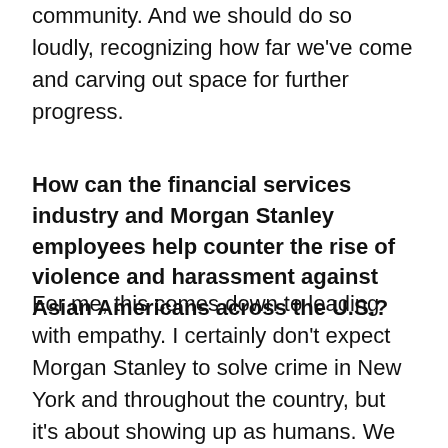community. And we should do so loudly, recognizing how far we've come and carving out space for further progress.
How can the financial services industry and Morgan Stanley employees help counter the rise of violence and harassment against Asian Americans across the U.S.?
For me, this comes down to leading with empathy. I certainly don't expect Morgan Stanley to solve crime in New York and throughout the country, but it's about showing up as humans. We need to acknowledge the extra mental strain this environment can cause, be aware of the violence that's happening, and offer a safe space for our AAPI colleagues. I'd encourage managers to check in on your direct reports to lessen the emotional labor on